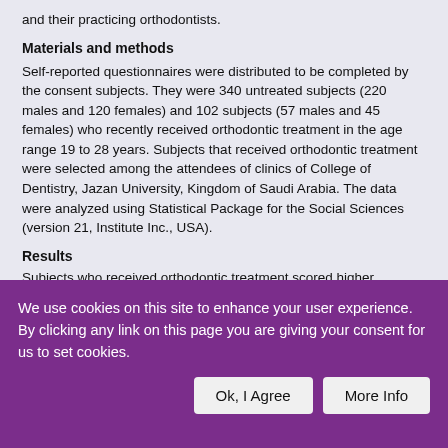and their practicing orthodontists.
Materials and methods
Self-reported questionnaires were distributed to be completed by the consent subjects. They were 340 untreated subjects (220 males and 120 females) and 102 subjects (57 males and 45 females) who recently received orthodontic treatment in the age range 19 to 28 years. Subjects that received orthodontic treatment were selected among the attendees of clinics of College of Dentistry, Jazan University, Kingdom of Saudi Arabia. The data were analyzed using Statistical Package for the Social Sciences (version 21, Institute Inc., USA).
Results
Subjects who received orthodontic treatment scored higher
We use cookies on this site to enhance your user experience. By clicking any link on this page you are giving your consent for us to set cookies.